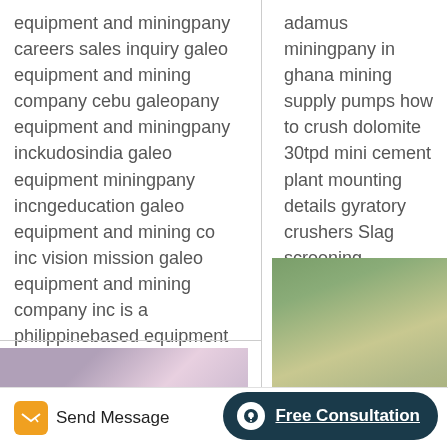equipment and miningpany careers sales inquiry galeo equipment and mining company cebu galeopany equipment and miningpany inckudosindia galeo equipment miningpany incngeducation galeo equipment and mining co inc vision mission galeo equipment and mining company inc is a philippinebased equipment
adamus miningpany in ghana mining supply pumps how to crush dolomite 30tpd mini cement plant mounting details gyratory crushers Slag screening equipment manufacturer sale gold mining equipment towable crusher .
[Figure (photo): Industrial machinery photo, appears to show a pink/purple circular industrial component, likely a crusher or mill]
[Figure (photo): Outdoor mining site photo showing yellow heavy equipment/bulldozer and crushed stone material, with trees in background]
Send Message
Free Consultation